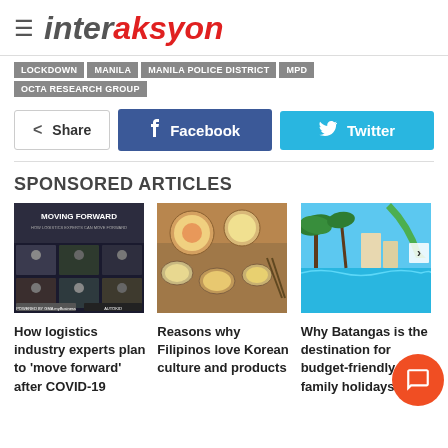interaksyon
LOCKDOWN
MANILA
MANILA POLICE DISTRICT
MPD
OCTA RESEARCH GROUP
Share | Facebook | Twitter
SPONSORED ARTICLES
[Figure (photo): Moving Forward webinar screenshot with participants]
How logistics industry experts plan to 'move forward' after COVID-19
[Figure (photo): Korean food spread with various dishes in bowls]
Reasons why Filipinos love Korean culture and products
[Figure (photo): Tropical resort with swimming pool and palm trees in Batangas]
Why Batangas is the destination for budget-friendly family holidays